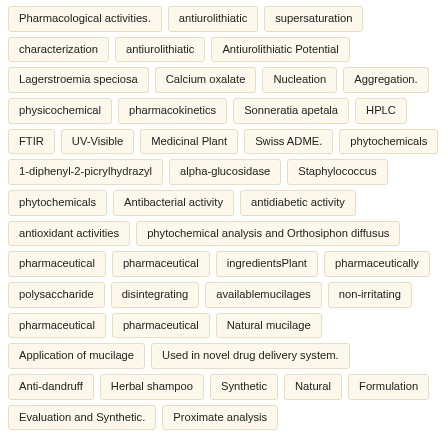Pharmacological activities.
antiurolithiatic
supersaturation
characterization
antiurolithiatic
Antiurolithiatic Potential
Lagerstroemia speciosa
Calcium oxalate
Nucleation
Aggregation.
physicochemical
pharmacokinetics
Sonneratia apetala
HPLC
FTIR
UV-Visible
Medicinal Plant
Swiss ADME.
phytochemicals
1-diphenyl-2-picrylhydrazyl
alpha-glucosidase
Staphylococcus
phytochemicals
Antibacterial activity
antidiabetic activity
antioxidant activities
phytochemical analysis and Orthosiphon diffusus
pharmaceutical
pharmaceutical
ingredientsPlant
pharmaceutically
polysaccharide
disintegrating
availablemucilages
non-irritating
pharmaceutical
pharmaceutical
Natural mucilage
Application of mucilage
Used in novel drug delivery system.
Anti-dandruff
Herbal shampoo
Synthetic
Natural
Formulation
Evaluation and Synthetic.
Proximate analysis